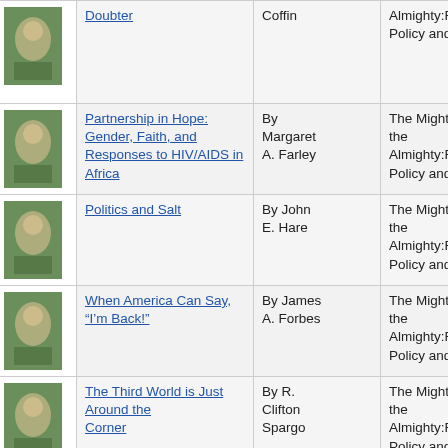|  | Title | Author | Series |
| --- | --- | --- | --- |
| [img] | Doubter | Coffin | Almighty:Foreign Policy and God |
| [img] | Partnership in Hope: Gender, Faith, and Responses to HIV/AIDS in Africa | By Margaret A. Farley | The Mighty and the Almighty:Foreign Policy and God |
| [img] | Politics and Salt | By John E. Hare | The Mighty and the Almighty:Foreign Policy and God |
| [img] | When America Can Say, “I’m Back!” | By James A. Forbes | The Mighty and the Almighty:Foreign Policy and God |
| [img] | The Third World is Just Around the Corner | By R. Clifton Spargo | The Mighty and the Almighty:Foreign Policy and God |